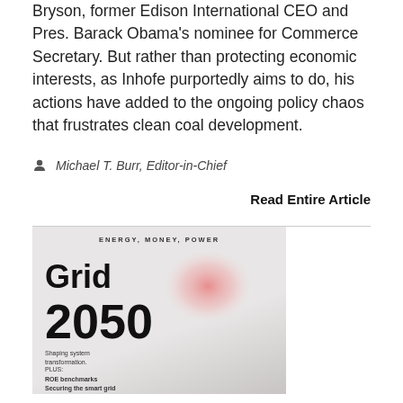Bryson, former Edison International CEO and Pres. Barack Obama's nominee for Commerce Secretary. But rather than protecting economic interests, as Inhofe purportedly aims to do, his actions have added to the ongoing policy chaos that frustrates clean coal development.
Michael T. Burr, Editor-in-Chief
Read Entire Article
[Figure (photo): Magazine cover for 'Grid 2050' with subtitle 'Shaping system transformation.' and tagline 'ENERGY, MONEY, POWER'. Plus section mentions ROE benchmarks and Securing the smart grid. Features a pink/red glowing orb graphic on a grid-patterned background.]
Letters to the Editor